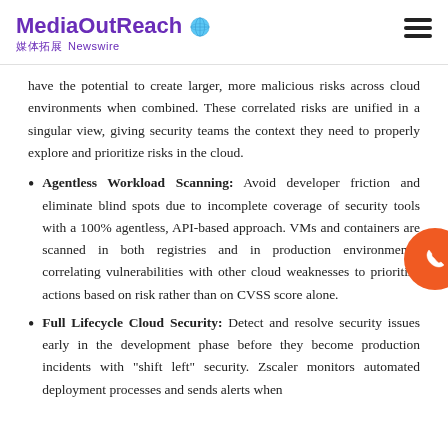MediaOutReach 媒体拓展 Newswire
have the potential to create larger, more malicious risks across cloud environments when combined. These correlated risks are unified in a singular view, giving security teams the context they need to properly explore and prioritize risks in the cloud.
Agentless Workload Scanning: Avoid developer friction and eliminate blind spots due to incomplete coverage of security tools with a 100% agentless, API-based approach. VMs and containers are scanned in both registries and in production environments, correlating vulnerabilities with other cloud weaknesses to prioritize actions based on risk rather than on CVSS score alone.
Full Lifecycle Cloud Security: Detect and resolve security issues early in the development phase before they become production incidents with "shift left" security. Zscaler monitors automated deployment processes and sends alerts when